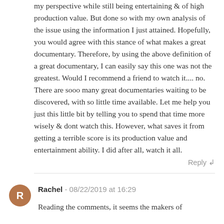my perspective while still being entertaining & of high production value. But done so with my own analysis of the issue using the information I just attained. Hopefully, you would agree with this stance of what makes a great documentary. Therefore, by using the above definition of a great documentary, I can easily say this one was not the greatest. Would I recommend a friend to watch it.... no. There are sooo many great documentaries waiting to be discovered, with so little time available. Let me help you just this little bit by telling you to spend that time more wisely & dont watch this. However, what saves it from getting a terrible score is its production value and entertainment ability. I did after all, watch it all.
Reply
Rachel - 08/22/2019 at 16:29
Reading the comments, it seems the makers of